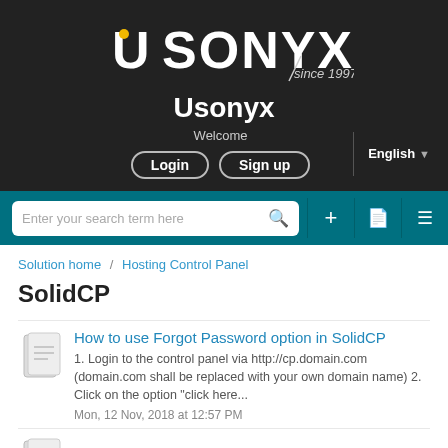[Figure (logo): USONYX logo with 'since 1997' text on dark background]
Usonyx
Welcome
Login   Sign up
English
Enter your search term here
Solution home / Hosting Control Panel
SolidCP
How to use Forgot Password option in SolidCP
1. Login to the control panel via http://cp.domain.com (domain.com shall be replaced with your own domain name) 2. Click on the option "click here... Mon, 12 Nov, 2018 at 12:57 PM